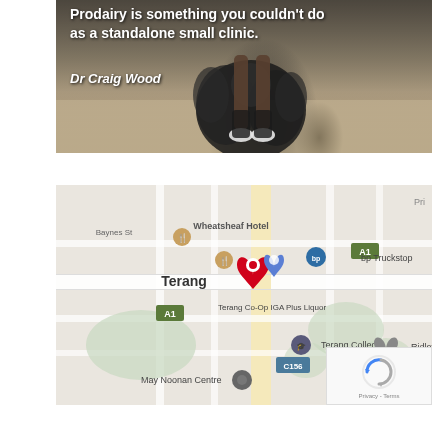[Figure (photo): Photo of a person standing with a large dark fluffy dog, overlaid with white bold text quote about Prodairy and attribution to Dr Craig Wood]
Prodairy is something you couldn't do as a standalone small clinic.
Dr Craig Wood
[Figure (map): Google Maps screenshot showing street map of Terang, Australia, with landmarks including Wheatsheaf Hotel, Terang Co-Op IGA Plus Liquor, bp Truckstop, Terang College, Ridley, May Noonan Centre, and a red location pin marker in the centre of town.]
[Figure (other): Google reCAPTCHA badge showing the reCAPTCHA logo and Privacy - Terms text]